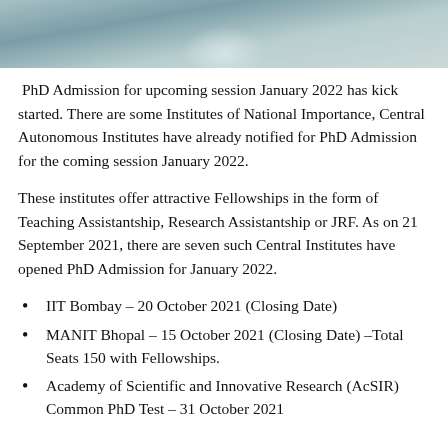[Figure (photo): Partial photo at top of page, appears to be a close-up of a person or soft-focus background image, mostly cropped.]
PhD Admission for upcoming session January 2022 has kick started. There are some Institutes of National Importance, Central Autonomous Institutes have already notified for PhD Admission for the coming session January 2022.
These institutes offer attractive Fellowships in the form of Teaching Assistantship, Research Assistantship or JRF. As on 21 September 2021, there are seven such Central Institutes have opened PhD Admission for January 2022.
IIT Bombay – 20 October 2021 (Closing Date)
MANIT Bhopal – 15 October 2021 (Closing Date) –Total Seats 150 with Fellowships.
Academy of Scientific and Innovative Research (AcSIR) Common PhD Test – 31 October 2021